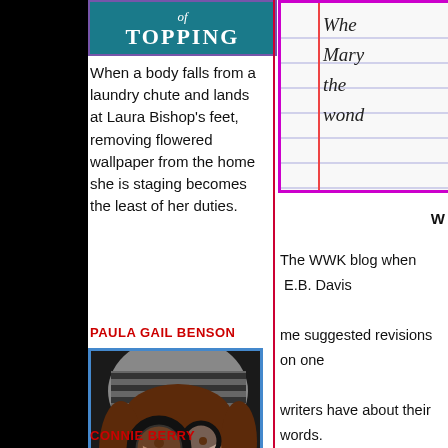[Figure (illustration): Book cover with teal background showing stylized text 'TOPPING']
When a body falls from a laundry chute and lands at Laura Bishop's feet, removing flowered wallpaper from the home she is staging becomes the least of her duties.
PAULA GAIL BENSON
[Figure (photo): Photo of a woman holding a magnifying glass]
CONNIE BERRY
[Figure (photo): Partial view of a notebook with handwriting showing 'Whe Mary the wond']
W
The WWK blog when  E.B. Davis
me suggested revisions on one
writers have about their words.
editing but who don't want the
doesn't sound strange to me.  I